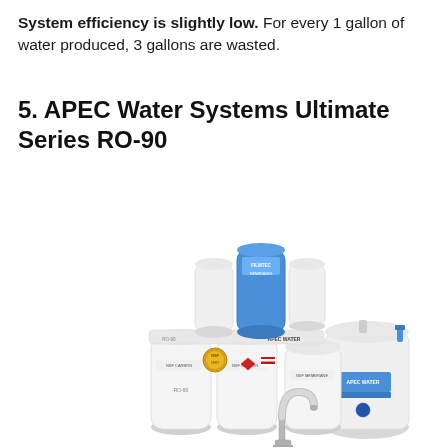System efficiency is slightly low. For every 1 gallon of water produced, 3 gallons are wasted.
5. APEC Water Systems Ultimate Series RO-90
[Figure (photo): Photo of the APEC Water Systems Ultimate Series RO-90 reverse osmosis water filtration system, showing three white filter canisters, filter membranes on top (including a blue FILMTEC MEMBRANES cartridge), a chrome faucet, and a white pressurized storage tank with an APEC WATER label and blue dot, all on a white background.]